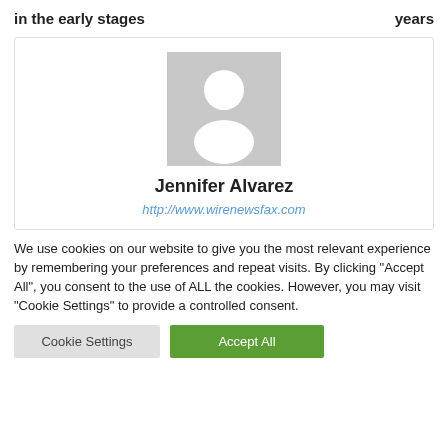in the early stages   years
[Figure (illustration): Profile card showing a gray avatar placeholder silhouette image with name Jennifer Alvarez and URL http://www.wirenewsfax.com]
We use cookies on our website to give you the most relevant experience by remembering your preferences and repeat visits. By clicking "Accept All", you consent to the use of ALL the cookies. However, you may visit "Cookie Settings" to provide a controlled consent.
Cookie Settings   Accept All